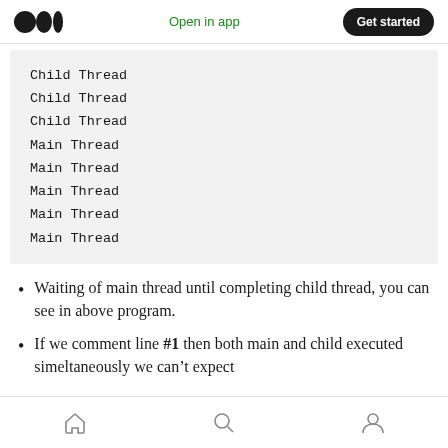Open in app | Get started
[Figure (screenshot): Code output block showing thread execution order: Child Thread (x3), Main Thread (x5)]
Waiting of main thread until completing child thread, you can see in above program.
If we comment line #1 then both main and child executed simeltaneously we can't expect
Home | Search | Profile